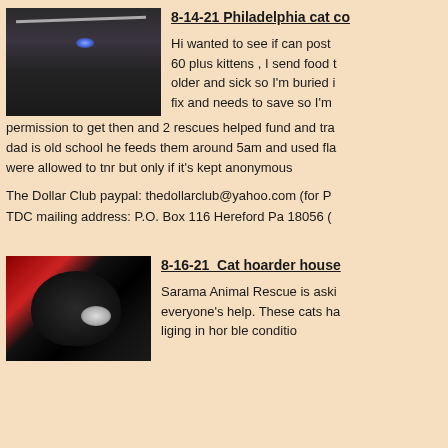[Figure (photo): Photo of cats in a dark setting under a table with a blue light]
8-14-21 Philadelphia cat co
Hi wanted to see if can post 60 plus kittens , I send food t older and sick so I'm buried i fix and needs to save so I'm permission to get then and 2 rescues helped fund and tra dad is old school he feeds them around 5am and used fla were allowed to tnr but only if it's kept anonymous
The Dollar Club paypal: thedollarclub@yahoo.com (for P TDC mailing address: P.O. Box 116 Hereford Pa 18056 (
[Figure (photo): Close-up photo of a black cat's face]
8-16-21  Cat hoarder house
Sarama Animal Rescue is aski everyone's help. These cats ha liging in hor ble conditio